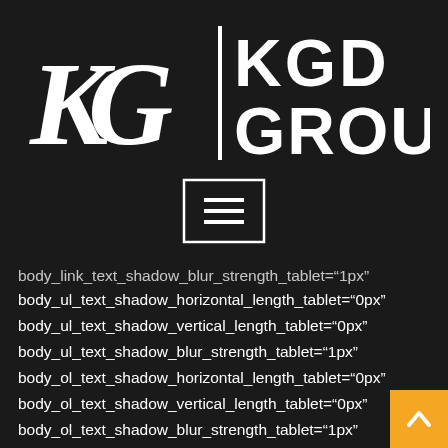[Figure (logo): KG KGD GROUP logo — white letters KG with serif italic styling on left, vertical white divider line, then KGD GROUP in bold sans-serif on right, all on dark background]
[Figure (other): Hamburger menu button — white bordered rectangle containing three horizontal white lines, on dark background]
body_link_text_shadow_blur_strength_tablet="1px"
body_ul_text_shadow_horizontal_length_tablet="0px"
body_ul_text_shadow_vertical_length_tablet="0px"
body_ul_text_shadow_blur_strength_tablet="1px"
body_ol_text_shadow_horizontal_length_tablet="0px"
body_ol_text_shadow_vertical_length_tablet="0px"
body_ol_text_shadow_blur_strength_tablet="1px"
body_quote_text_shadow_horizontal_length_tablet="0px"
body_quote_text_shadow_vertical_length_tablet="0px"
body_quote_text_shadow_blur_strength_tablet="1px"